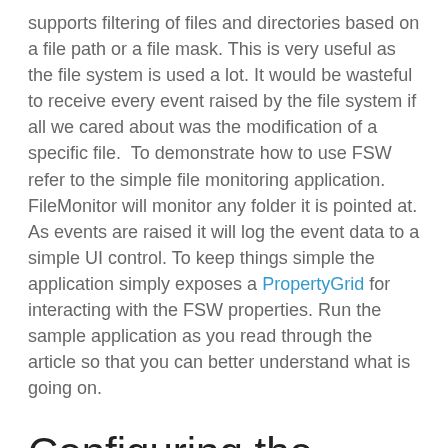supports filtering of files and directories based on a file path or a file mask. This is very useful as the file system is used a lot. It would be wasteful to receive every event raised by the file system if all we cared about was the modification of a specific file.  To demonstrate how to use FSW refer to the simple file monitoring application. FileMonitor will monitor any folder it is pointed at. As events are raised it will log the event data to a simple UI control. To keep things simple the application simply exposes a PropertyGrid for interacting with the FSW properties. Run the sample application as you read through the article so that you can better understand what is going on.
Configuring the FileSystemWatcher